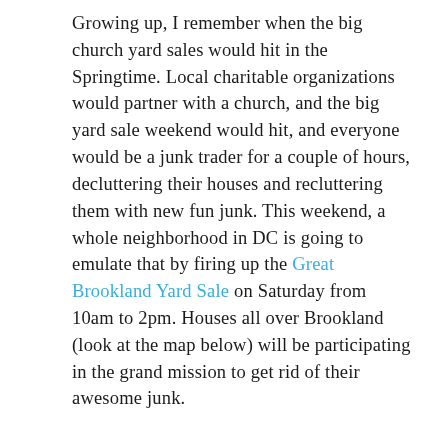Growing up, I remember when the big church yard sales would hit in the Springtime. Local charitable organizations would partner with a church, and the big yard sale weekend would hit, and everyone would be a junk trader for a couple of hours, decluttering their houses and recluttering them with new fun junk. This weekend, a whole neighborhood in DC is going to emulate that by firing up the Great Brookland Yard Sale on Saturday from 10am to 2pm. Houses all over Brookland (look at the map below) will be participating in the grand mission to get rid of their awesome junk.